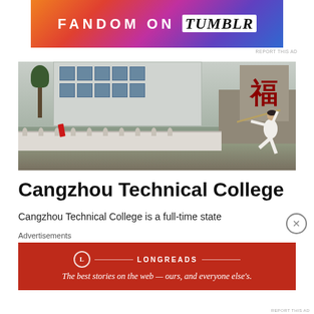[Figure (illustration): Tumblr advertisement banner with colorful gradient background reading FANDOM ON tumblr]
[Figure (photo): A person in white martial arts clothing practicing with a long staff/pole outside a building with Chinese characters, white decorative fence in foreground, trees visible]
Cangzhou Technical College
Cangzhou Technical College is a full-time state
Advertisements
[Figure (illustration): Longreads advertisement: The best stories on the web — ours, and everyone else's.]